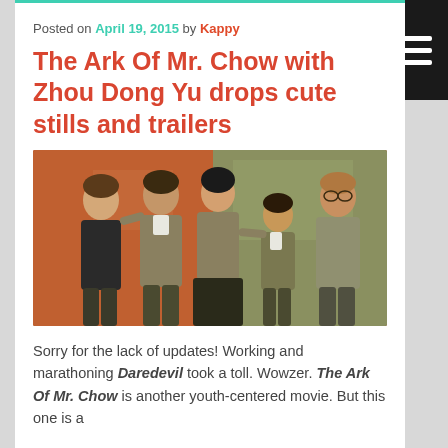Posted on April 19, 2015 by Kappy
The Ark Of Mr. Chow with Zhou Dong Yu drops cute stills and trailers
[Figure (photo): Group photo of five people (four adults and one child) posing together in front of a red and olive-green background, all wearing similar earth-toned clothing.]
Sorry for the lack of updates! Working and marathoning Daredevil took a toll. Wowzer. The Ark Of Mr. Chow is another youth-centered movie. But this one is a